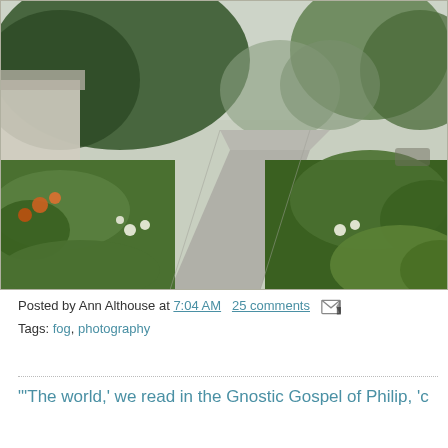[Figure (photo): A foggy residential street scene with lush green gardens on both sides of a concrete sidewalk leading into misty distance. Trees and shrubs visible, a house on the left, a car in the background right.]
Posted by Ann Althouse at 7:04 AM   25 comments [email icon]
Tags: fog, photography
'The world,' we read in the Gnostic Gospel of Philip, 'c...